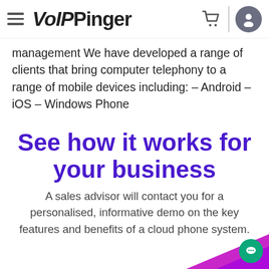VoIPinger — navigation header with hamburger menu, cart icon, and user icon
management We have developed a range of clients that bring computer telephony to a range of mobile devices including: – Android – iOS – Windows Phone
See how it works for your business
A sales advisor will contact you for a personalised, informative demo on the key features and benefits of a cloud phone system.